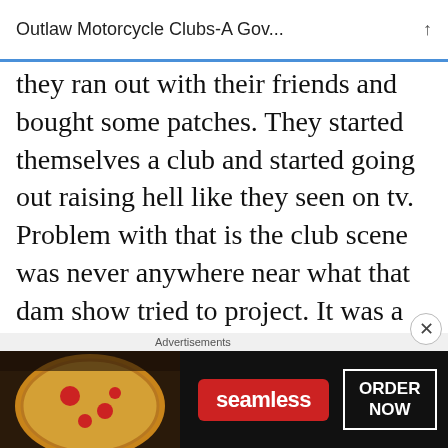Outlaw Motorcycle Clubs-A Gov...
they ran out with their friends and bought some patches. They started themselves a club and started going out raising hell like they seen on tv. Problem with that is the club scene was never anywhere near what that dam show tried to project. It was a Hollywood show you dam morons. To think that club life is like that you have to be some kind of fool.
Advertisements
[Figure (screenshot): Advertisement banner for Seamless food ordering service showing pizza image, Seamless logo in red, and ORDER NOW button]